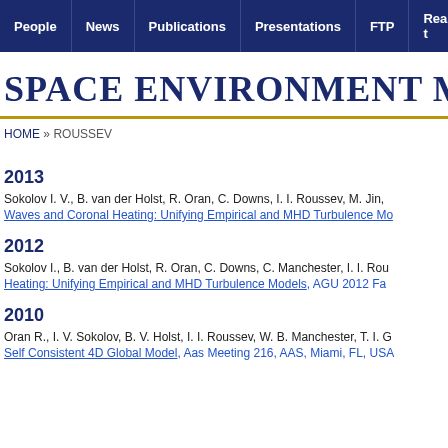People | News | Publications | Presentations | FTP | Real-t
SPACE ENVIRONMENT MODE
HOME » ROUSSEV
2013
Sokolov I. V., B. van der Holst, R. Oran, C. Downs, I. I. Roussev, M. Jin,
Waves and Coronal Heating: Unifying Empirical and MHD Turbulence Mo
2012
Sokolov I., B. van der Holst, R. Oran, C. Downs, C. Manchester, I. I. Rou
Heating: Unifying Empirical and MHD Turbulence Models, AGU 2012 Fa
2010
Oran R., I. V. Sokolov, B. V. Holst, I. I. Roussev, W. B. Manchester, T. I. G
Self Consistent 4D Global Model, Aas Meeting 216, AAS, Miami, FL, USA